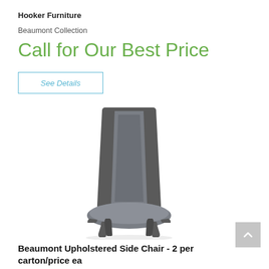Hooker Furniture
Beaumont Collection
Call for Our Best Price
See Details
[Figure (photo): A Beaumont upholstered side chair with dark gray fabric on back and seat, and dark wood frame with four tapered legs, photographed on white background.]
Beaumont Upholstered Side Chair - 2 per carton/price ea